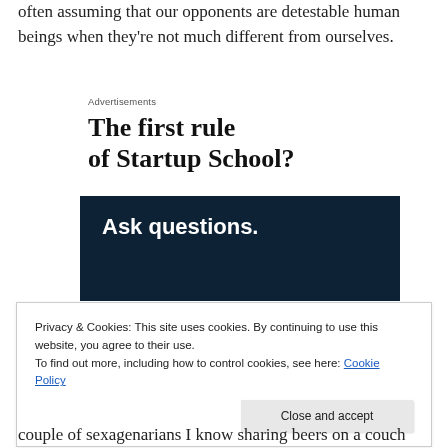often assuming that our opponents are detestable human beings when they're not much different from ourselves.
Advertisements
The first rule of Startup School?
[Figure (illustration): Dark navy blue banner with white bold text reading 'Ask questions.']
Privacy & Cookies: This site uses cookies. By continuing to use this website, you agree to their use.
To find out more, including how to control cookies, see here: Cookie Policy
couple of sexagenarians I know sharing beers on a couch